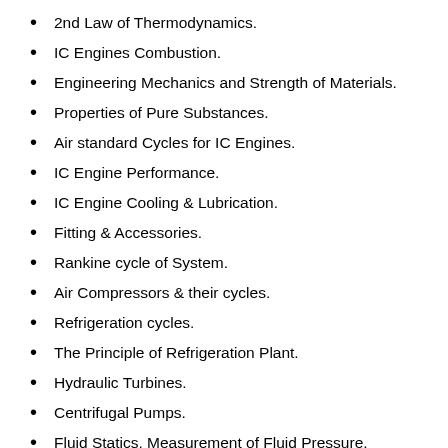2nd Law of Thermodynamics.
IC Engines Combustion.
Engineering Mechanics and Strength of Materials.
Properties of Pure Substances.
Air standard Cycles for IC Engines.
IC Engine Performance.
IC Engine Cooling & Lubrication.
Fitting & Accessories.
Rankine cycle of System.
Air Compressors & their cycles.
Refrigeration cycles.
The Principle of Refrigeration Plant.
Hydraulic Turbines.
Centrifugal Pumps.
Fluid Statics, Measurement of Fluid Pressure.